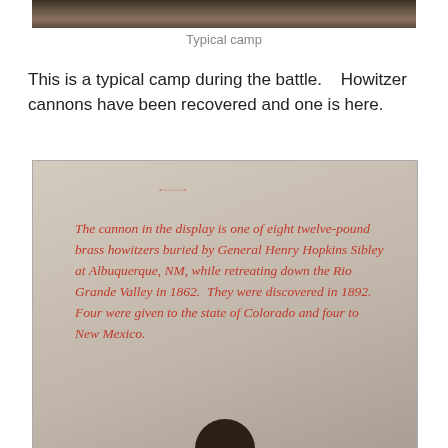[Figure (photo): Top portion of a photo showing a typical camp scene during the battle, partially cropped at top of page]
Typical camp
This is a typical camp during the battle.    Howitzer cannons have been recovered and one is here.
[Figure (photo): Photo of a museum display sign with red italic text reading: The cannon in the display is one of eight twelve-pound brass howitzers buried by General Henry Hopkins Sibley at Albuquerque, NM, while retreating down the Rio Grande Valley in 1862. They were discovered in 1892. Four were given to the state of Colorado and four to New Mexico. A cannon barrel is visible at the top left. A person's head is partially visible at the bottom.]